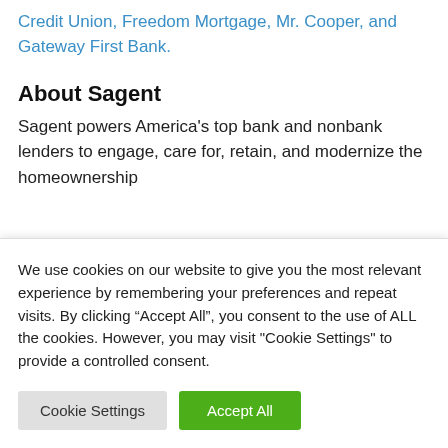Credit Union, Freedom Mortgage, Mr. Cooper, and Gateway First Bank.
About Sagent
Sagent powers America's top bank and nonbank lenders to engage, care for, retain, and modernize the homeownership
We use cookies on our website to give you the most relevant experience by remembering your preferences and repeat visits. By clicking "Accept All", you consent to the use of ALL the cookies. However, you may visit "Cookie Settings" to provide a controlled consent.
Cookie Settings | Accept All